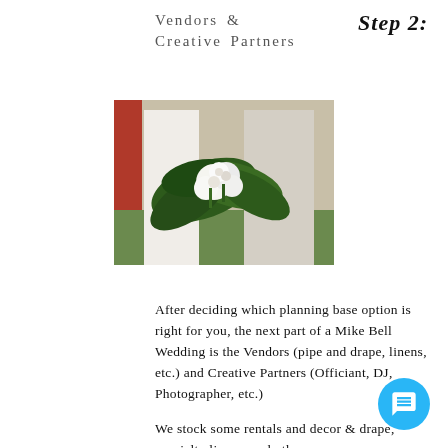Vendors &
Creative Partners
Step 2:
[Figure (photo): A couple holding a tropical wedding bouquet with large green leaves and white flowers. The bride wears white and the groom wears a light suit.]
After deciding which planning base option is right for you, the next part of a Mike Bell Wedding is the Vendors (pipe and drape, linens, etc.) and Creative Partners (Officiant, DJ, Photographer, etc.)
We stock some rentals and decor & drape, specialty linens, and other...